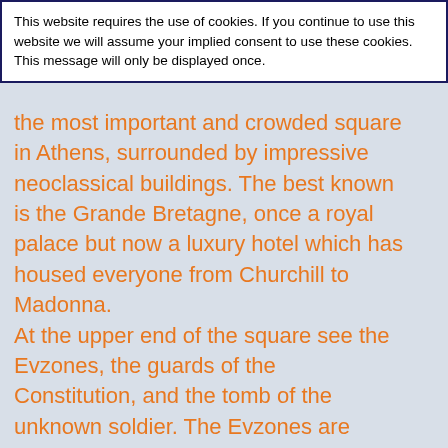This website requires the use of cookies. If you continue to use this website we will assume your implied consent to use these cookies. This message will only be displayed once.
the most important and crowded square in Athens, surrounded by impressive neoclassical buildings. The best known is the Grande Bretagne, once a royal palace but now a luxury hotel which has housed everyone from Churchill to Madonna. At the upper end of the square see the Evzones, the guards of the Constitution, and the tomb of the unknown soldier. The Evzones are traditionally dressed with 17th and 18th century clothes: an impressive white skirt, red hat, and an old rifle. The changing of the guard